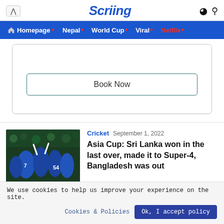Scriling
Homepage • Nepal • World Cup • Viral • Netflix •
[Figure (screenshot): Advertisement banner with Book Now button]
[Figure (photo): Sri Lanka cricket team celebrating on field]
Cricket  September 1, 2022
Asia Cup: Sri Lanka won in the last over, made it to Super-4, Bangladesh was out
We use cookies to help us improve your experience on the site.
Cookies & Policies    Ok, I accept policy